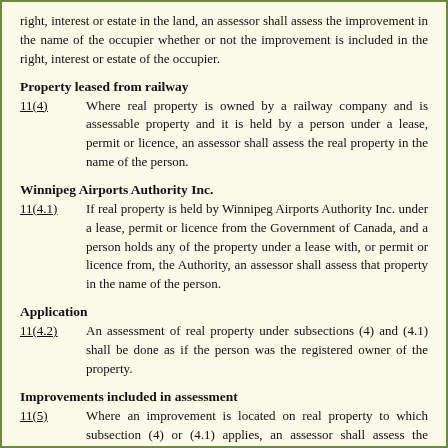right, interest or estate in the land, an assessor shall assess the improvement in the name of the occupier whether or not the improvement is included in the right, interest or estate of the occupier.
Property leased from railway
11(4)      Where real property is owned by a railway company and is assessable property and it is held by a person under a lease, permit or licence, an assessor shall assess the real property in the name of the person.
Winnipeg Airports Authority Inc.
11(4.1)      If real property is held by Winnipeg Airports Authority Inc. under a lease, permit or licence from the Government of Canada, and a person holds any of the property under a lease with, or permit or licence from, the Authority, an assessor shall assess that property in the name of the person.
Application
11(4.2)      An assessment of real property under subsections (4) and (4.1) shall be done as if the person was the registered owner of the property.
Improvements included in assessment
11(5)      Where an improvement is located on real property to which subsection (4) or (4.1) applies, an assessor shall assess the improvement and the real property together in the name of the person who holds the real property under lease, permit or licence.